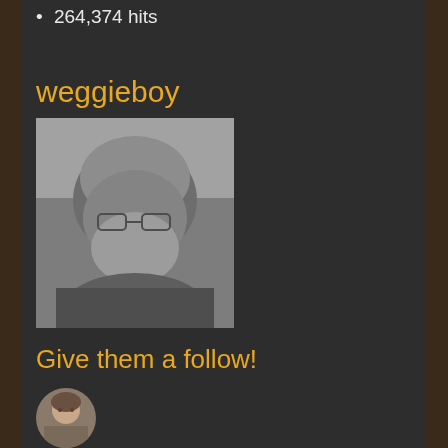264,374 hits
weggieboy
[Figure (photo): Black and white close-up portrait of a middle-aged bald man with glasses and a full grey beard]
Give them a follow!
[Figure (photo): Small circular thumbnail photo of a person with long hair]
Community
[Figure (photo): Community thumbnail: black and white geometric circle design on blue/red/black background]
[Figure (photo): Community thumbnail: grey and white cat face]
[Figure (photo): Community thumbnail row 2: portrait]
[Figure (photo): Community thumbnail row 2: person photo]
[Figure (photo): Community thumbnail row 2: blue design]